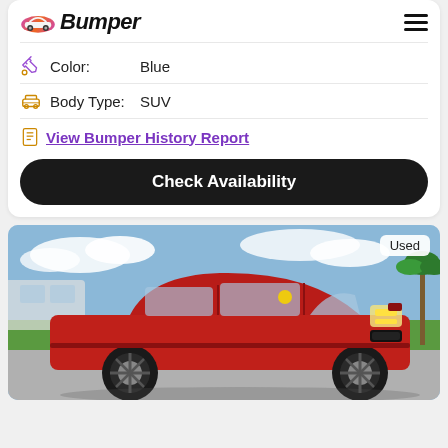[Figure (logo): Bumper logo with car icon and italic bold text 'Bumper']
Color: Blue
Body Type: SUV
View Bumper History Report
Check Availability
[Figure (photo): Red Lincoln SUV (used) parked outdoors with blue sky background. A yellow sticker is visible on the windshield. Badge reads 'Used' in the top right corner.]